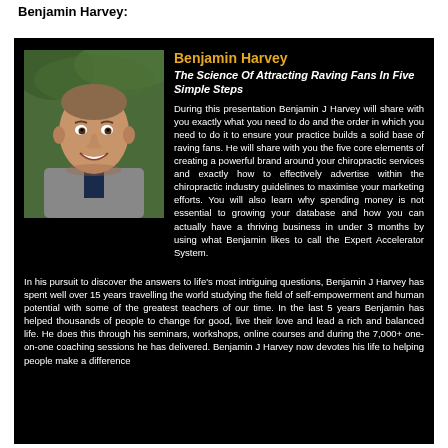Benjamin Harvey:
[Figure (photo): Headshot photo of Benjamin Harvey, a smiling man in a grey blazer and dark shirt, outdoors with greenery in background]
Benjamin Harvey
The Science Of Attracting Raving Fans In Five Simple Steps
During this presentation Benjamin J Harvey will share with you exactly what you need to do and the order in which you need to do it to ensure your practice builds a solid base of raving fans. He will share with you the five core elements of creating a powerful brand around your chiropractic services and exactly how to effectively advertise within the chiropractic industry guidelines to maximise your marketing efforts. You will also learn why spending money is not essential to growing your database and how you can actually have a thriving business in under 3 months by using what Benjamin likes to call the Expert Accelerator System.
In his pursuit to discover the answers to life's most intriguing questions, Benjamin J Harvey has spent well over 15 years travelling the world studying the field of self-empowerment and human potential with some of the greatest teachers of our time. In the last 5 years Benjamin has helped thousands of people to change for good, live their love and lead a rich and balanced life. He does this through his seminars, workshops, online courses and during the 7,000+ one-on-one coaching sessions he has delivered. Benjamin J Harvey now devotes his life to helping people make a difference